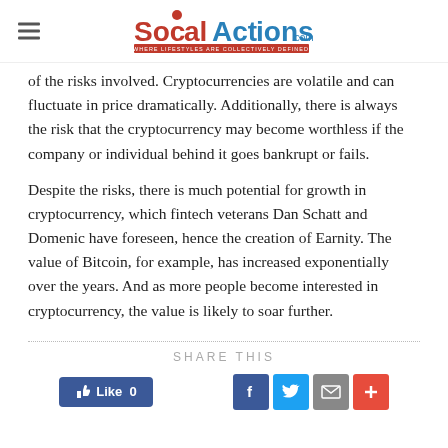Social Actions
of the risks involved. Cryptocurrencies are volatile and can fluctuate in price dramatically. Additionally, there is always the risk that the cryptocurrency may become worthless if the company or individual behind it goes bankrupt or fails.
Despite the risks, there is much potential for growth in cryptocurrency, which fintech veterans Dan Schatt and Domenic have foreseen, hence the creation of Earnity. The value of Bitcoin, for example, has increased exponentially over the years. And as more people become interested in cryptocurrency, the value is likely to soar further.
SHARE THIS